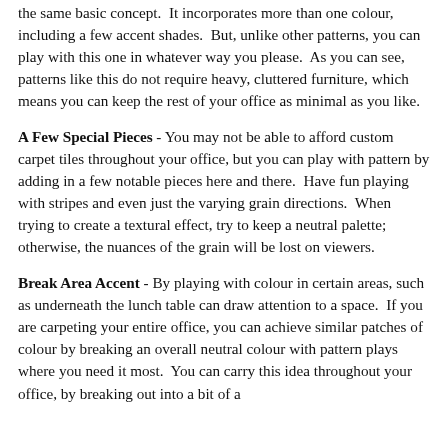the same basic concept.  It incorporates more than one colour, including a few accent shades.  But, unlike other patterns, you can play with this one in whatever way you please.  As you can see, patterns like this do not require heavy, cluttered furniture, which means you can keep the rest of your office as minimal as you like.
A Few Special Pieces - You may not be able to afford custom carpet tiles throughout your office, but you can play with pattern by adding in a few notable pieces here and there.  Have fun playing with stripes and even just the varying grain directions.  When trying to create a textural effect, try to keep a neutral palette; otherwise, the nuances of the grain will be lost on viewers.
Break Area Accent - By playing with colour in certain areas, such as underneath the lunch table can draw attention to a space.  If you are carpeting your entire office, you can achieve similar patches of colour by breaking an overall neutral colour with pattern plays where you need it most.  You can carry this idea throughout your office, by breaking out into a bit of a